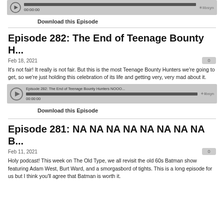[Figure (other): Audio player bar showing time 00:00:00 for a podcast episode]
Download this Episode
Episode 282: The End of Teenage Bounty H...
Feb 18, 2021
It's not fair! It really is not fair. But this is the most Teenage Bounty Hunters we're going to get, so we're just holding this celebration of its life and getting very, very mad about it.
[Figure (other): Audio player for Episode 282: The End of Teenage Bounty Hunters NOOO... showing 00:00:00 with libsyn branding]
Download this Episode
Episode 281: NA NA NA NA NA NA NA NA B...
Feb 11, 2021
Holy podcast! This week on The Old Type, we all revisit the old 60s Batman show featuring Adam West, Burt Ward, and a smorgasbord of tights. This is a long episode for us but I think you'll agree that Batman is worth it.